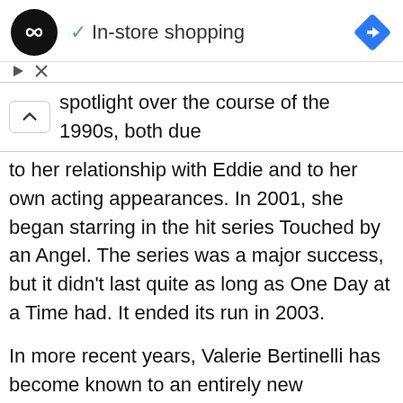[Figure (screenshot): Ad bar with black circular logo with infinity-style icon, green checkmark and 'In-store shopping' text, blue navigation diamond icon on right]
[Figure (screenshot): Small play and close (X) icons for ad controls]
spotlight over the course of the 1990s, both due to her relationship with Eddie and to her own acting appearances. In 2001, she began starring in the hit series Touched by an Angel. The series was a major success, but it didn't last quite as long as One Day at a Time had. It ended its run in 2003.
In more recent years, Valerie Bertinelli has become known to an entirely new generation thanks to her starring turn on the series Hot In Cleveland alongside Betty White. In addition, she has ventured out into other demographics with her aforementioned gigs